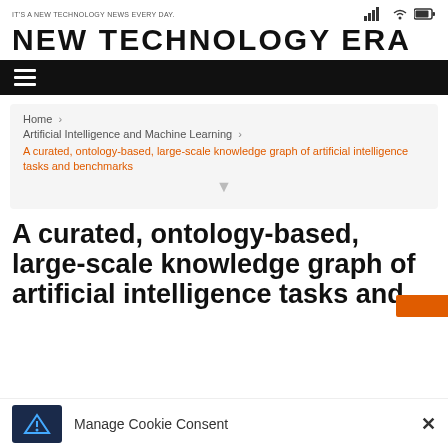IT'S A NEW TECHNOLOGY NEWS EVERY DAY.
NEW TECHNOLOGY ERA
[Figure (other): Navigation bar with hamburger menu icon on black background]
Home > Artificial Intelligence and Machine Learning > A curated, ontology-based, large-scale knowledge graph of artificial intelligence tasks and benchmarks
A curated, ontology-based, large-scale knowledge graph of artificial intelligence tasks and
Manage Cookie Consent